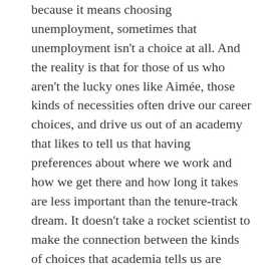because it means choosing unemployment, sometimes that unemployment isn't a choice at all. And the reality is that for those of us who aren't the lucky ones like Aimée, those kinds of necessities often drive our career choices, and drive us out of an academy that likes to tell us that having preferences about where we work and how we get there and how long it takes are less important than the tenure-track dream. It doesn't take a rocket scientist to make the connection between the kinds of choices that academia tells us are legitimate, the kinds of flexibility it accommodates or doesn't, and the leaky pipeline that pushes people who want, or have, to choose different kinds of working arrangements, different priorities for their location and time, out of the academy.